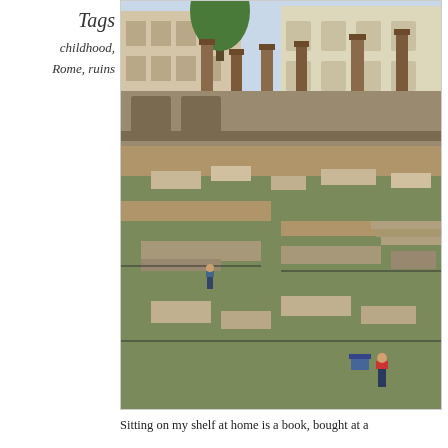Tags
childhood, Rome, ruins
[Figure (photo): Aerial view of ancient Roman ruins with tall columns, scattered stone blocks and fragments on grass, surrounded by historic Roman buildings in the background. A person in a red shirt is visible in the foreground.]
Sitting on my shelf at home is a book, bought at a